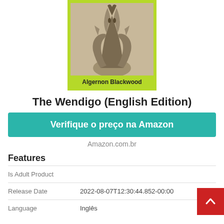[Figure (illustration): Book cover for The Wendigo by Algernon Blackwood, showing a sepia-toned photo of a wolf/creature on a lime green background with the author name Algernon Blackwood in bold at the bottom.]
The Wendigo (English Edition)
Verifique o preço na Amazon
Amazon.com.br
Features
| Is Adult Product |  |
| Release Date | 2022-08-07T12:30:44.852-00:00 |
| Language | Inglês |